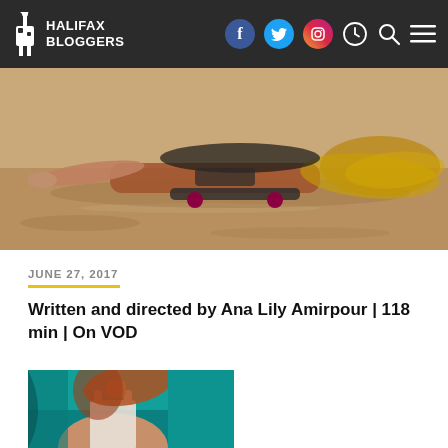HALIFAX BLOGGERS
[Figure (photo): Hero image showing a person lying on a skateboard on sandy ground, long hair spread out, viewed from the side.]
JUNE 27, 2017
Written and directed by Ana Lily Amirpour | 118 min | On VOD
[Figure (photo): Photo of a young woman with long red hair wearing a white tank top, standing in front of a teal/blue surface.]